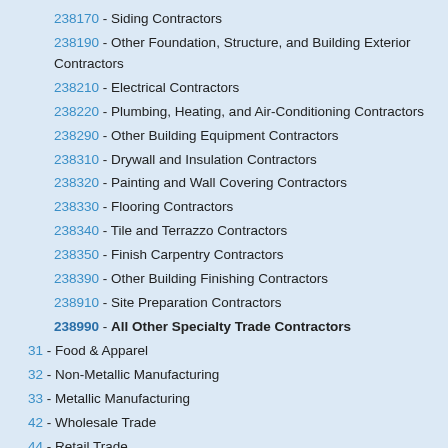238170 - Siding Contractors
238190 - Other Foundation, Structure, and Building Exterior Contractors
238210 - Electrical Contractors
238220 - Plumbing, Heating, and Air-Conditioning Contractors
238290 - Other Building Equipment Contractors
238310 - Drywall and Insulation Contractors
238320 - Painting and Wall Covering Contractors
238330 - Flooring Contractors
238340 - Tile and Terrazzo Contractors
238350 - Finish Carpentry Contractors
238390 - Other Building Finishing Contractors
238910 - Site Preparation Contractors
238990 - All Other Specialty Trade Contractors
31 - Food & Apparel
32 - Non-Metallic Manufacturing
33 - Metallic Manufacturing
42 - Wholesale Trade
44 - Retail Trade
45 - Retail Trade - Misc.